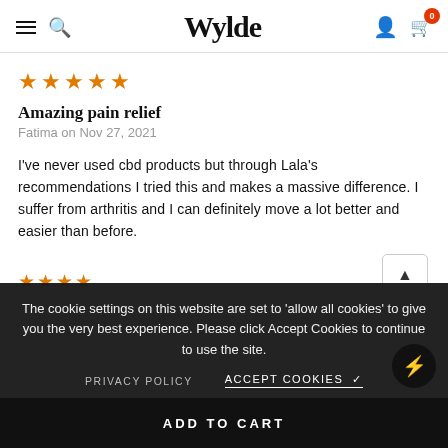Wylde — navigation header with hamburger menu, search, account, and cart (0 items)
[Figure (other): Five orange star rating icons]
Amazing pain relief
Fatima on Nov 27, 2021
I've never used cbd products but through Lala's recommendations I tried this and makes a massive difference. I suffer from arthritis and I can definitely move a lot better and easier than before.
The cookie settings on this website are set to 'allow all cookies' to give you the very best experience. Please click Accept Cookies to continue to use the site.
PRIVACY POLICY    ACCEPT COOKIES ✓
ADD TO CART